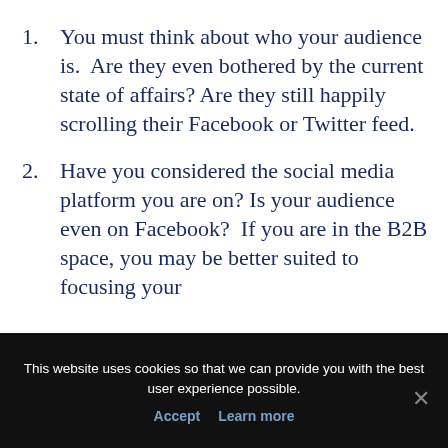1. You must think about who your audience is.  Are they even bothered by the current state of affairs? Are they still happily scrolling their Facebook or Twitter feed.
2. Have you considered the social media platform you are on? Is your audience even on Facebook?  If you are in the B2B space, you may be better suited to focusing your
This website uses cookies so that we can provide you with the best user experience possible.
Accept  Learn more